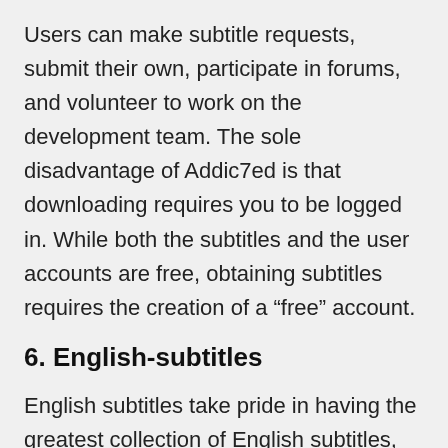Users can make subtitle requests, submit their own, participate in forums, and volunteer to work on the development team. The sole disadvantage of Addic7ed is that downloading requires you to be logged in. While both the subtitles and the user accounts are free, obtaining subtitles requires the creation of a “free” account.
6. English-subtitles
English subtitles take pride in having the greatest collection of English subtitles, having gathered subtitles for both movies and television shows since 2015. It has a simple dark...